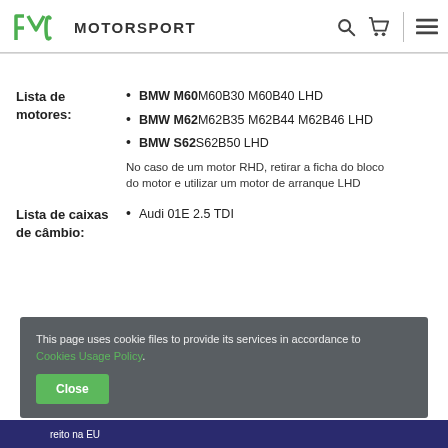PMC Motorsport
Lista de motores:
BMW M60 M60B30 M60B40 LHD
BMW M62 M62B35 M62B44 M62B46 LHD
BMW S62 S62B50 LHD
No caso de um motor RHD, retirar a ficha do bloco do motor e utilizar um motor de arranque LHD
Lista de caixas de câmbio:
Audi 01E 2.5 TDI
This page uses cookie files to provide its services in accordance to Cookies Usage Policy.